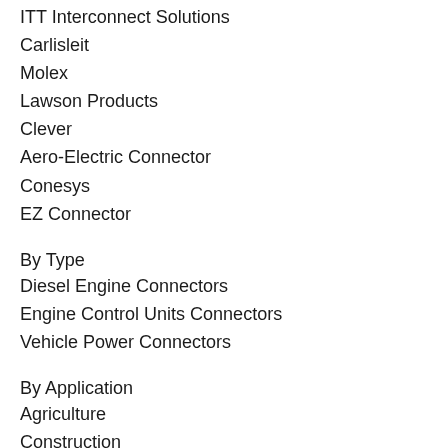ITT Interconnect Solutions
Carlisleit
Molex
Lawson Products
Clever
Aero-Electric Connector
Conesys
EZ Connector
By Type
Diesel Engine Connectors
Engine Control Units Connectors
Vehicle Power Connectors
By Application
Agriculture
Construction
Commercial Trucks
Heavy Equipment